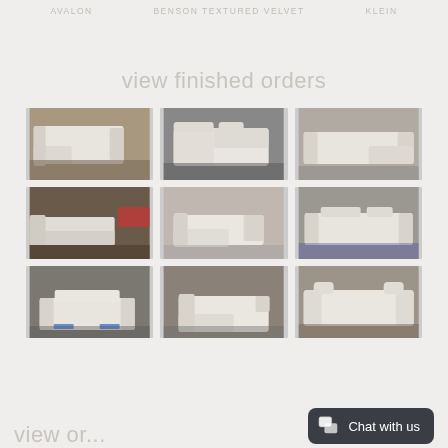AVALON   BENSON TEXTURED VELVET   KLEIN
view finished orders
[Figure (photo): 3x3 grid of photos showing white upholstered furniture (sectional sofas, sofas, beds) in a warehouse/factory setting]
view or...
Chat with us